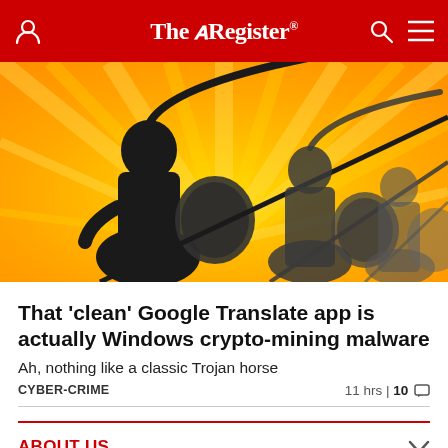The Register
[Figure (illustration): Hero illustration showing silhouettes of Roman/Trojan soldiers with spears and shields against a yellow sunburst background, evoking a Trojan horse theme.]
That 'clean' Google Translate app is actually Windows crypto-mining malware
Ah, nothing like a classic Trojan horse
CYBER-CRIME	11 hrs | 10
ABOUT US